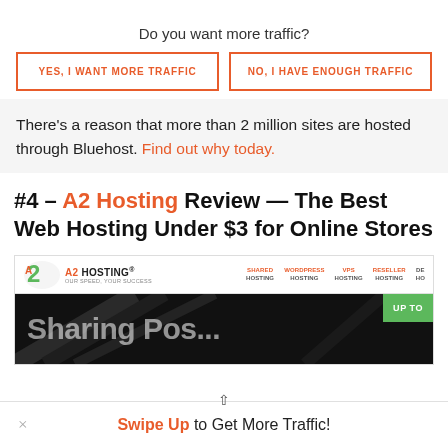Do you want more traffic?
YES, I WANT MORE TRAFFIC
NO, I HAVE ENOUGH TRAFFIC
There's a reason that more than 2 million sites are hosted through Bluehost. Find out why today.
#4 – A2 Hosting Review — The Best Web Hosting Under $3 for Online Stores
[Figure (screenshot): Screenshot of A2 Hosting website showing navigation bar with logo, SHARED HOSTING, WORDPRESS HOSTING, VPS HOSTING, RESELLER HOSTING, DE... nav links, and a dark hero section with 'UP TO' badge in green]
Swipe Up to Get More Traffic!